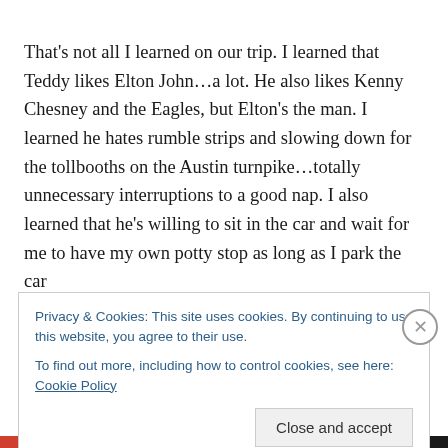That's not all I learned on our trip. I learned that Teddy likes Elton John…a lot. He also likes Kenny Chesney and the Eagles, but Elton's the man. I learned he hates rumble strips and slowing down for the tollbooths on the Austin turnpike…totally unnecessary interruptions to a good nap. I also learned that he's willing to sit in the car and wait for me to have my own potty stop as long as I park the car
Privacy & Cookies: This site uses cookies. By continuing to use this website, you agree to their use.
To find out more, including how to control cookies, see here: Cookie Policy
Close and accept